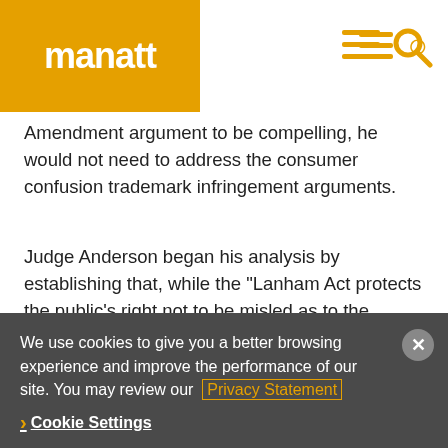manatt
Amendment argument to be compelling, he would not need to address the consumer confusion trademark infringement arguments.
Judge Anderson began his analysis by establishing that, while the "Lanham Act protects the public's right not to be misled as to the source of a product," Ninth Circuit precedent holds that a trademark owner is not allowed "to quash an unauthorized use of the mark by another who is communicating ideas
We use cookies to give you a better browsing experience and improve the performance of our site. You may review our Privacy Statement
Cookie Settings